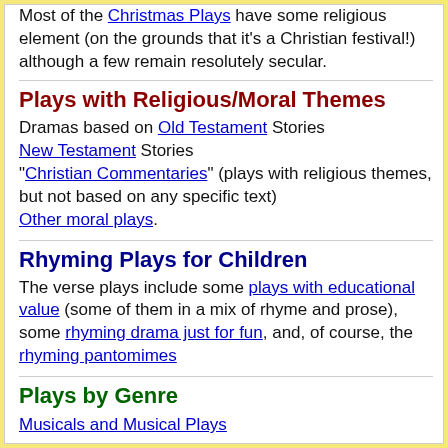Most of the Christmas Plays have some religious element (on the grounds that it's a Christian festival!) although a few remain resolutely secular.
Plays with Religious/Moral Themes
Dramas based on Old Testament Stories
New Testament Stories
"Christian Commentaries" (plays with religious themes, but not based on any specific text)
Other moral plays.
Rhyming Plays for Children
The verse plays include some plays with educational value (some of them in a mix of rhyme and prose), some rhyming drama just for fun, and, of course, the rhyming pantomimes
Plays by Genre
Musicals and Musical Plays
Comedies
Farces
Whodunnits
Mysteries
Thrillers
Romances